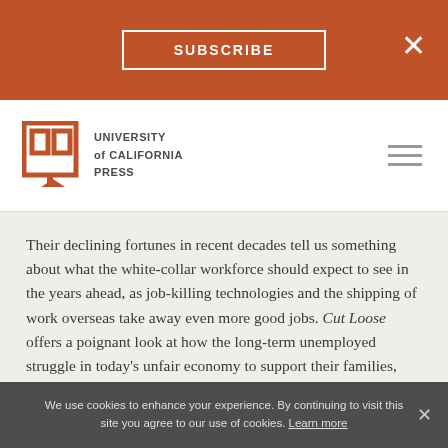SUBSCRIBE
[Figure (logo): University of California Press logo — open book icon in rust/orange with UC Press wordmark]
Their declining fortunes in recent decades tell us something about what the white-collar workforce should expect to see in the years ahead, as job-killing technologies and the shipping of work overseas take away even more good jobs. Cut Loose offers a poignant look at how the long-term unemployed struggle in today's unfair economy to support their families, rebuild their lives, and overcome the shame and self-blame they deal with on a daily basis. It is also a call to action—a blueprint for a new kind of politics, one that offers a measure of grace in a society of ruthless advancement.
We use cookies to enhance your experience. By continuing to visit this site you agree to our use of cookies. Learn more